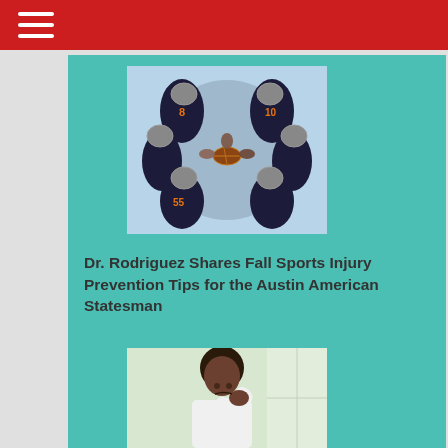[Figure (photo): Aerial view of football players in dark jerseys with orange numbers huddling together, one player holding a football in the center]
Dr. Rodriguez Shares Fall Sports Injury Prevention Tips for the Austin American Statesman
[Figure (photo): Young man in white shirt holding his shoulder/chest area, appearing to be in pain from a sports injury, sitting near a window]